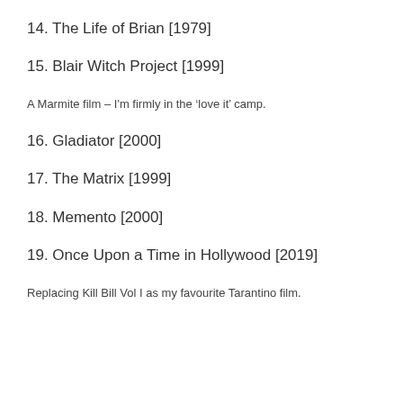14. The Life of Brian [1979]
15. Blair Witch Project [1999]
A Marmite film – I'm firmly in the ‘love it’ camp.
16. Gladiator [2000]
17. The Matrix [1999]
18. Memento [2000]
19. Once Upon a Time in Hollywood [2019]
Replacing Kill Bill Vol I as my favourite Tarantino film.